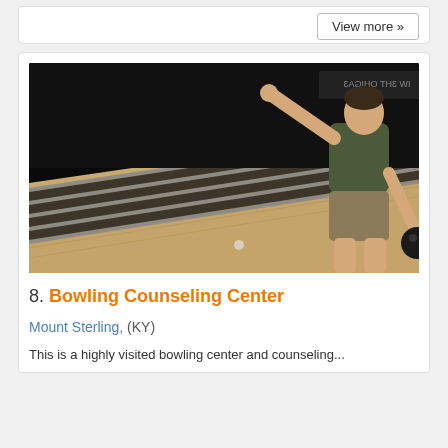View more »
[Figure (photo): A person bowling, leaning forward on a bowling lane with multiple lanes visible. The lanes have wooden floors with gutters and metal rails. The bowler is wearing a dark shirt and shorts.]
8. Bowling Counseling Center
Mount Sterling, (KY)
This is a highly visited bowling center...